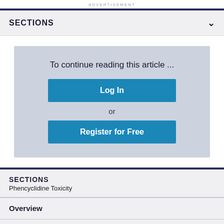ADVERTISEMENT
SECTIONS
To continue reading this article ...
Log In
or
Register for Free
SECTIONS
Phencyclidine Toxicity
Overview
Presentation